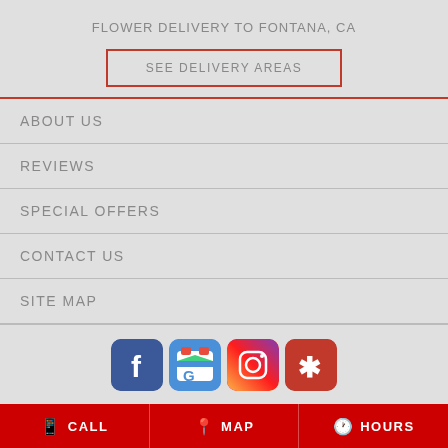FLOWER DELIVERY TO FONTANA, CA
SEE DELIVERY AREAS
ABOUT US
REVIEWS
SPECIAL OFFERS
CONTACT US
SITE MAP
[Figure (logo): Social media icons: Facebook, Google Maps, Instagram, Yelp]
CALL   MAP   HOURS